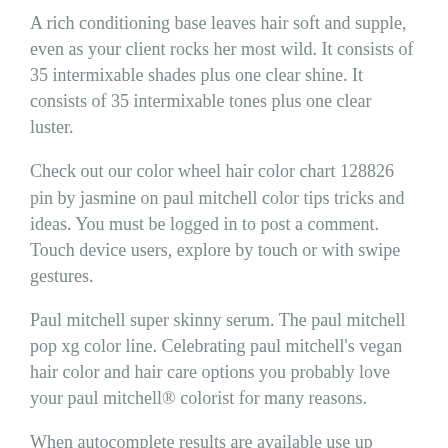A rich conditioning base leaves hair soft and supple, even as your client rocks her most wild. It consists of 35 intermixable shades plus one clear shine. It consists of 35 intermixable tones plus one clear luster.
Check out our color wheel hair color chart 128826 pin by jasmine on paul mitchell color tips tricks and ideas. You must be logged in to post a comment. Touch device users, explore by touch or with swipe gestures.
Paul mitchell super skinny serum. The paul mitchell pop xg color line. Celebrating paul mitchell's vegan hair color and hair care options you probably love your paul mitchell® colorist for many reasons.
When autocomplete results are available use up